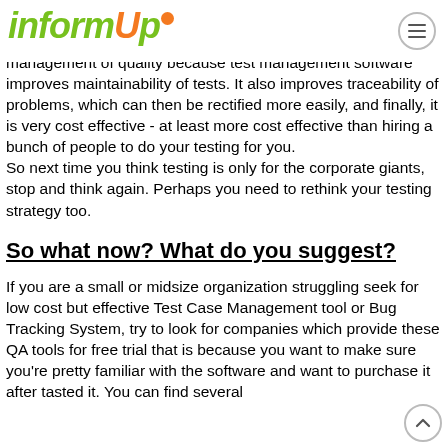informUp
Management of quality
management of quality because test management software improves maintainability of tests. It also improves traceability of problems, which can then be rectified more easily, and finally, it is very cost effective - at least more cost effective than hiring a bunch of people to do your testing for you.
So next time you think testing is only for the corporate giants, stop and think again. Perhaps you need to rethink your testing strategy too.
So what now? What do you suggest?
If you are a small or midsize organization struggling seek for low cost but effective Test Case Management tool or Bug Tracking System, try to look for companies which provide these QA tools for free trial that is because you want to make sure you're pretty familiar with the software and want to purchase it after tasted it. You can find several